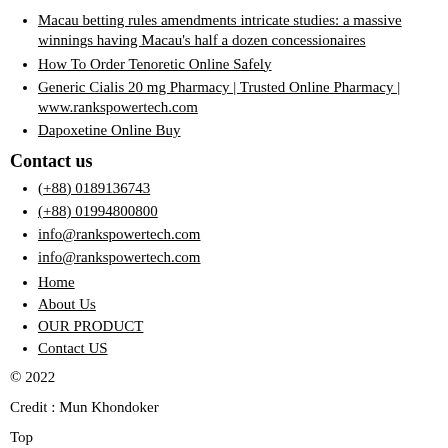Macau betting rules amendments intricate studies: a massive winnings having Macau's half a dozen concessionaires
How To Order Tenoretic Online Safely
Generic Cialis 20 mg Pharmacy | Trusted Online Pharmacy | www.rankspowertech.com
Dapoxetine Online Buy
Contact us
(+88) 0189136743
(+88) 01994800800
info@rankspowertech.com
info@rankspowertech.com
Home
About Us
OUR PRODUCT
Contact US
© 2022
Credit : Mun Khondoker
Top